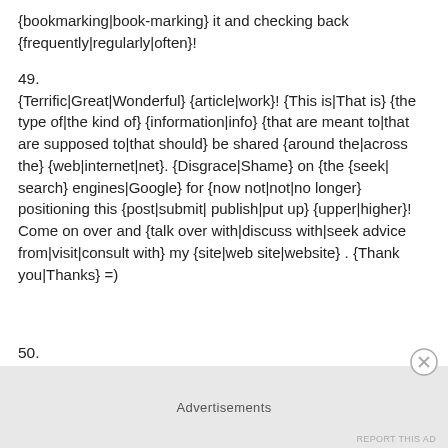{bookmarking|book-marking} it and checking back {frequently|regularly|often}!
49.
{Terrific|Great|Wonderful} {article|work}! {This is|That is} {the type of|the kind of} {information|info} {that are meant to|that are supposed to|that should} be shared {around the|across the} {web|internet|net}. {Disgrace|Shame} on {the {seek| search} engines|Google} for {now not|not|no longer} positioning this {post|submit| publish|put up} {upper|higher}! Come on over and {talk over with|discuss with|seek advice from|visit|consult with} my {site|web site|website} . {Thank you|Thanks} =)
50.
Advertisements